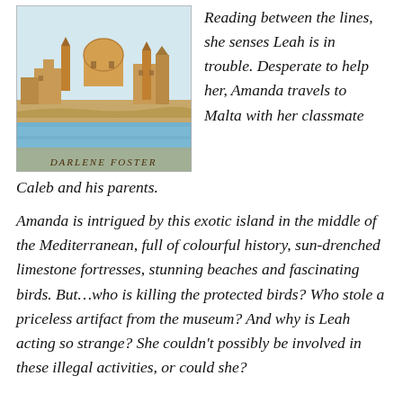[Figure (illustration): Book cover illustration showing a Mediterranean cityscape with domed buildings and towers, waterfront scene, with text 'DARLENE FOSTER' at the bottom]
Reading between the lines, she senses Leah is in trouble. Desperate to help her, Amanda travels to Malta with her classmate Caleb and his parents.
Amanda is intrigued by this exotic island in the middle of the Mediterranean, full of colourful history, sun-drenched limestone fortresses, stunning beaches and fascinating birds. But…who is killing the protected birds? Who stole a priceless artifact from the museum? And why is Leah acting so strange? She couldn't possibly be involved in these illegal activities, or could she?